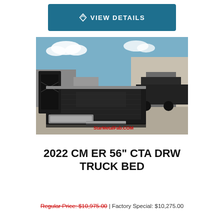VIEW DETAILS
[Figure (photo): Photo of a 2022 CM ER 56 CTA DRW truck bed displayed in a parking lot, showing a black flatbed truck bed with headache rack and toolboxes. StarMetalFab.COM watermark visible.]
2022 CM ER 56" CTA DRW TRUCK BED
Regular Price: $10,975.00 | Factory Special: $10,275.00